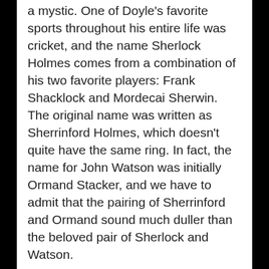a mystic. One of Doyle's favorite sports throughout his entire life was cricket, and the name Sherlock Holmes comes from a combination of his two favorite players: Frank Shacklock and Mordecai Sherwin.
The original name was written as Sherrinford Holmes, which doesn't quite have the same ring. In fact, the name for John Watson was initially Ormand Stacker, and we have to admit that the pairing of Sherrinford and Ormand sound much duller than the beloved pair of Sherlock and Watson.